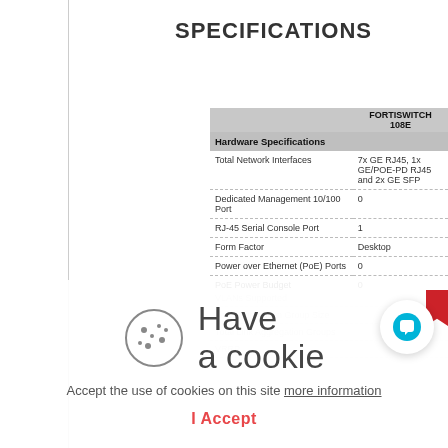SPECIFICATIONS
|  | FORTISWITCH 108E |
| --- | --- |
| Hardware Specifications |  |
| Total Network Interfaces | 7x GE RJ45, 1x GE/POE-PD RJ45 and 2x GE SFP |
| Dedicated Management 10/100 Port | 0 |
| RJ-45 Serial Console Port | 1 |
| Form Factor | Desktop |
| Power over Ethernet (PoE) Ports | 0 |
| PoE Power Budget | 0 |
| Mean Time Between Failures | > 10 years |
| System Specifications |  |
| Switching Capacity (Duplex) | 20 Gbps |
| Packets Per Second (Duplex) | 30 Mpps |
| MAC Address Storage | 8 K |
| Network Latency | 4us |
Have a cookie
Accept the use of cookies on this site more information
I Accept